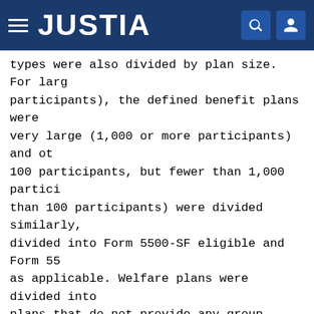JUSTIA
types were also divided by plan size. For large participants), the defined benefit plans were very large (1,000 or more participants) and other 100 participants, but fewer than 1,000 participants than 100 participants) were divided similarly, divided into Form 5500-SF eligible and Form 55 as applicable. Welfare plans were divided into plans that do not provide any group health benefits provide group health benefits and have fewer t divided into fully insured group health plans unfunded/fully insured plans, or funded with a plans. DFEs were divided into Master Trusts/MT IEs, GIAs, and DCGs. For each of these sets of hours per respondent were estimated for the Fo Report itself and up to seven schedules or the Schedule SB, for Form 5500-SF eligible defined